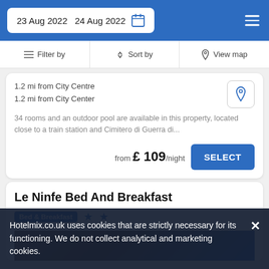23 Aug 2022  24 Aug 2022
Filter by  Sort by  View map
1.2 mi from City Centre
1.2 mi from City Center
34 rooms and an outdoor pool are available in this property, located close to a train station and Cimitero di Guerra di...
from £ 109/night
SELECT
Le Ninfe Bed And Breakfast
Bed & Breakfast ★★
[Figure (photo): Hotel property photo strip]
Hotelmix.co.uk uses cookies that are strictly necessary for its functioning. We do not collect analytical and marketing cookies.